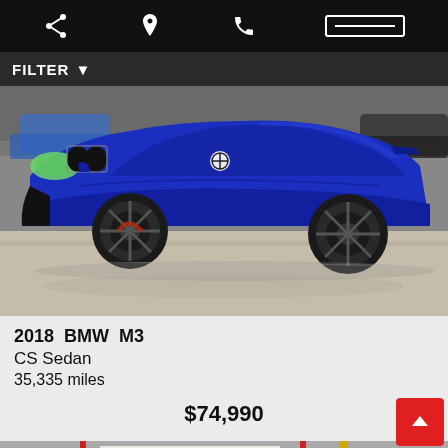Navigation bar with share, location, phone, and menu icons
FILTER
[Figure (photo): 2018 BMW M3 CS Sedan in metallic dark blue parked in a dealership garage with grey concrete floor, viewed from a front-side angle. Other cars visible in background.]
2018  BMW  M3
CS Sedan
35,335 miles
$74,990
[Figure (photo): Partial view of another vehicle in a garage, bottom strip of the page.]